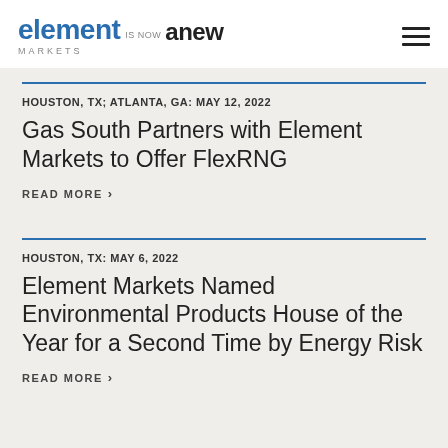element is now anew MARKETS
HOUSTON, TX; ATLANTA, GA: MAY 12, 2022
Gas South Partners with Element Markets to Offer FlexRNG
READ MORE >
HOUSTON, TX: MAY 6, 2022
Element Markets Named Environmental Products House of the Year for a Second Time by Energy Risk
READ MORE >